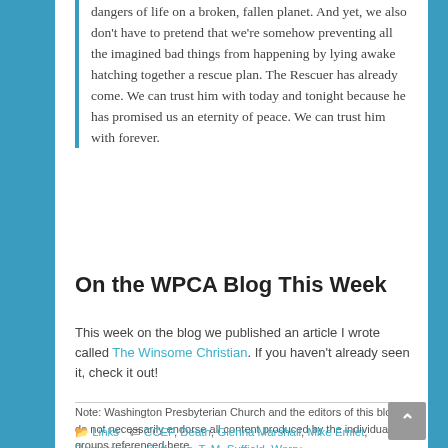dangers of life on a broken, fallen planet. And yet, we also don't have to pretend that we're somehow preventing all the imagined bad things from happening by lying awake hatching together a rescue plan. The Rescuer has already come. We can trust him with today and tonight because he has promised us an eternity of peace. We can trust him with forever.
On the WPCA Blog This Week
This week on the blog we published an article I wrote called The Winsome Christian. If you haven't already seen it, check it out!
Note: Washington Presbyterian Church and the editors of this blog do not necessarily endorse all content produced by the individuals or groups referenced here.
Links  CCEF, Death, Glenna Marshall, Mike Emlet, Resurrection, Suffering, T. M. Suffield, Worry